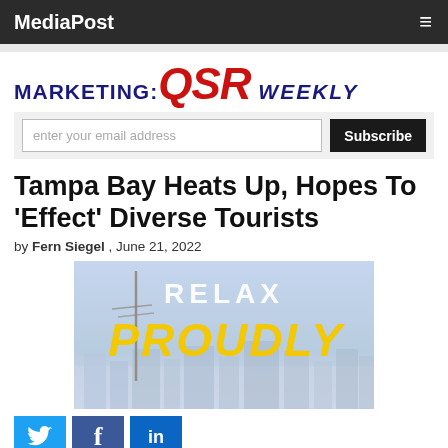MediaPost
[Figure (logo): MARKETING:QSR WEEKLY newsletter logo with red italic QSR text and dark blue MARKETING and WEEKLY text]
enter your email address  Subscribe
Tampa Bay Heats Up, Hopes To 'Effect' Diverse Tourists
by Fern Siegel , June 21, 2022
[Figure (photo): Tampa Bay promotional image with a light blue sky background showing 'RELAX' in white text and 'PROUDLY' in large yellow italic text, with a communications mast and city buildings in the background]
[Figure (infographic): Social media share buttons: Twitter (blue bird icon), Facebook (white f on blue), LinkedIn (in on blue)]